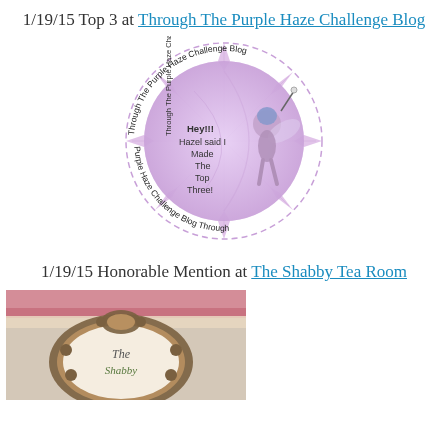1/19/15 Top 3 at Through The Purple Haze Challenge Blog
[Figure (logo): Circular badge for Through The Purple Haze Challenge Blog with a fairy character and text reading 'Hey!!! Hazel said I Made The Top Three!']
1/19/15 Honorable Mention at The Shabby Tea Room
[Figure (photo): Partial image of The Shabby Tea Room badge with ornate bronze frame, pink ribbon, and text 'The Shabby' visible]